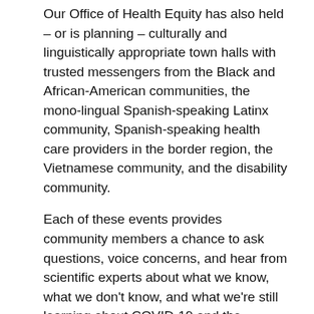Our Office of Health Equity has also held – or is planning – culturally and linguistically appropriate town halls with trusted messengers from the Black and African-American communities, the mono-lingual Spanish-speaking Latinx community, Spanish-speaking health care providers in the border region, the Vietnamese community, and the disability community.
Each of these events provides community members a chance to ask questions, voice concerns, and hear from scientific experts about what we know, what we don't know, and what we're still learning about COVID-19 and the vaccines.
These events have proven especially valuable at building vaccine confidence. In fact, we regularly see a spike in vaccine registrations following these town halls - which is important to our ongoing health equity efforts.
I've mentioned language several times, but allow me to linger there a moment longer. Reaching people -